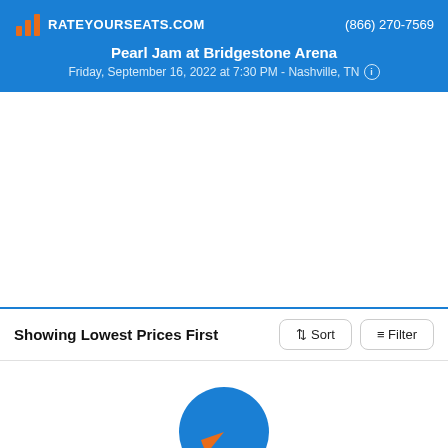RATEYOURSEATS.COM | (866) 270-7569
Pearl Jam at Bridgestone Arena
Friday, September 16, 2022 at 7:30 PM - Nashville, TN
[Figure (other): Map/seating chart area (white/empty)]
Showing Lowest Prices First
[Figure (other): Loading spinner — blue circle with orange arc segment indicating search in progress]
Searching for the best seats and the lowest prices...